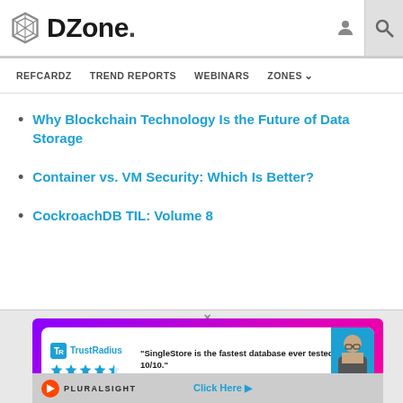DZone. — REFCARDZ  TREND REPORTS  WEBINARS  ZONES
Why Blockchain Technology Is the Future of Data Storage
Container vs. VM Security: Which Is Better?
CockroachDB TIL: Volume 8
[Figure (infographic): TrustRadius advertisement for SingleStore: quote says 'SingleStore is the fastest database ever tested by us. 10/10.' with star rating and person photo, on purple/pink gradient background]
[Figure (logo): Pluralsight logo bar with Click Here link]